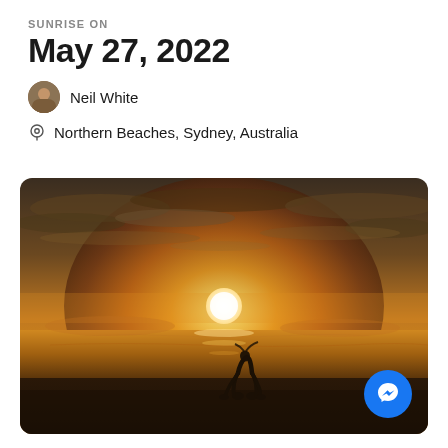SUNRISE ON
May 27, 2022
Neil White
Northern Beaches, Sydney, Australia
[Figure (photo): Sunrise beach photo showing a golden sun low on the horizon over the ocean, with dramatic clouds and a silhouetted figure in a yoga backbend pose on the beach. A Facebook Messenger button is overlaid in the bottom right corner.]